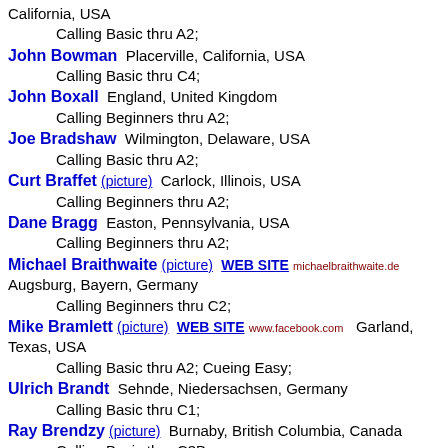California, USA
        Calling Basic thru A2;
John Bowman  Placerville, California, USA
        Calling Basic thru C4;
John Boxall  England, United Kingdom
        Calling Beginners thru A2;
Joe Bradshaw  Wilmington, Delaware, USA
        Calling Basic thru A2;
Curt Braffet (picture)  Carlock, Illinois, USA
        Calling Beginners thru A2;
Dane Bragg  Easton, Pennsylvania, USA
        Calling Beginners thru A2;
Michael Braithwaite (picture)  WEB SITE  michaelbraithwaite.de  Augsburg, Bayern, Germany
        Calling Beginners thru C2;
Mike Bramlett (picture)  WEB SITE  www.facebook.com  Garland, Texas, USA
        Calling Basic thru A2; Cueing Easy;
Ulrich Brandt  Sehnde, Niedersachsen, Germany
        Calling Basic thru C1;
Ray Brendzy (picture)  Burnaby, British Columbia, Canada
        Calling Basic thru C3B;
Tim Bressinck  WEB SITE  www.facebook.com  Dortmund, Nordrhein-Westfalen, Germany
        Calling Basic thru A2;
Paul Bristow (picture)  WEB SITE  www.stingproductions.co.uk  Ruislip, England, United Kingdom
        Calling Beginners thru C1;
Keith Brown (picture)  Pacific Grove -- Monterey Peninsula,